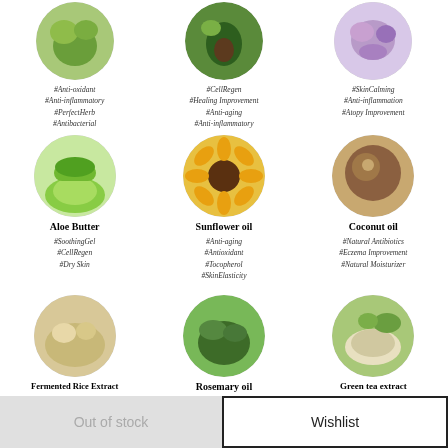[Figure (infographic): Grid of ingredient circles with hashtag labels. Row 1 (partial): herb/greens, avocado/greens, purple herb. Row 2: Aloe Butter, Sunflower oil, Coconut oil. Row 3: Fermented Rice Extract, Rosemary oil, Green tea extract.]
#Anti-oxidant
#Anti-inflammatory
#PerfectHerb
#Antibacterial
#CellRegen
#Healing Improvement
#Anti-aging
#Anti-inflammatory
#SkinCalming
#Anti-inflammation
#Atopy Improvement
Aloe Butter
#SoothingGel
#CellRegen
#Dry Skin
Sunflower oil
#Anti-aging
#Antioxidant
#Tocopherol
#SkinElasticity
Coconut oil
#Natural Antibiotics
#Eczema Improvement
#Natural Moisturizer
Fermented Rice Extract
#Whitening
Rosemary oil
#Anti-oxidation
Green tea extract
#Anti-oxidation
Out of stock
Wishlist